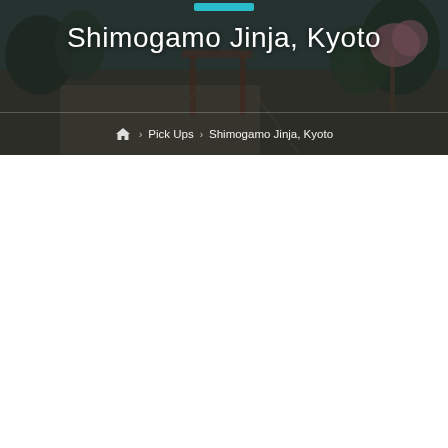[Figure (photo): Hero banner image of Shimogamo Jinja shrine in Kyoto, Japan. Shows a Japanese shrine pathway with trees, gravel ground, traditional torii gate visible in background. Dark overlaid photo used as page header background.]
Shimogamo Jinja, Kyoto
🏠 › Pick Ups › Shimogamo Jinja, Kyoto